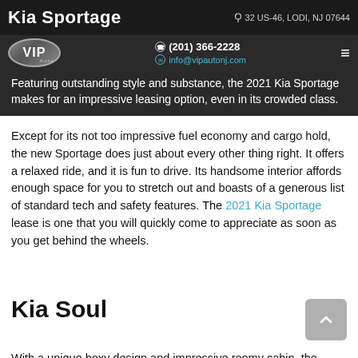Kia Sportage | 32 US-46, LODI, NJ 07644
[Figure (logo): VIP Auto dealership logo — oval silver badge with VIP text and Auto subtitle]
(201) 366-2228 | info@vipautonj.com
Featuring outstanding style and substance, the 2021 Kia Sportage makes for an impressive leasing option, even in its crowded class.
Except for its not too impressive fuel economy and cargo hold, the new Sportage does just about every other thing right. It offers a relaxed ride, and it is fun to drive. Its handsome interior affords enough space for you to stretch out and boasts of a generous list of standard tech and safety features. The 2021 Kia Sportage lease is one that you will quickly come to appreciate as soon as you get behind the wheels.
Kia Soul
With a unique boxy design and impressive roomy cabin, the